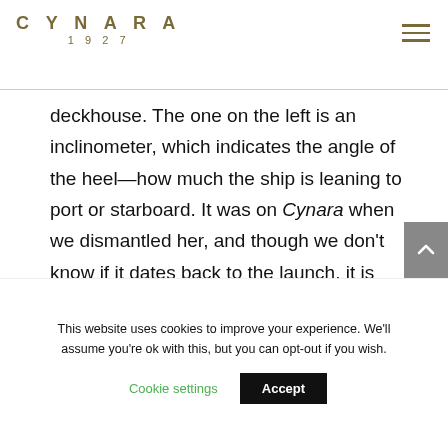CYNARA 1927
deckhouse. The one on the left is an inclinometer, which indicates the angle of the heel—how much the ship is leaning to port or starboard. It was on Cynara when we dismantled her, and though we don't know if it dates back to the launch, it is fairly old. On the right is a ship's clock dating from 1911.
This website uses cookies to improve your experience. We'll assume you're ok with this, but you can opt-out if you wish.
Cookie settings    Accept